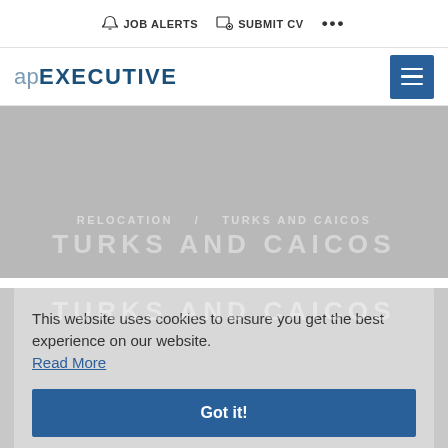JOB ALERTS  SUBMIT CV  ...
apEXECUTIVE
[Figure (screenshot): Gray placeholder image area with faint text 'RELOCATION / TURKS AND CAICOS' and 'TURKS AND CAICOS' overlaid]
This website uses cookies to ensure you get the best experience on our website. Read More
Got it!